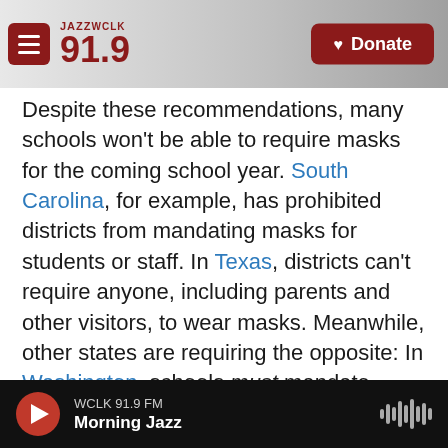JAZZWCLK 91.9 | Donate
Despite these recommendations, many schools won't be able to require masks for the coming school year. South Carolina, for example, has prohibited districts from mandating masks for students or staff. In Texas, districts can't require anyone, including parents and other visitors, to wear masks. Meanwhile, other states are requiring the opposite: In Washington, schools must mandate masks or face coverings indoors regardless of vaccination status.
In its guidance, the AAP says it recommends
WCLK 91.9 FM | Morning Jazz